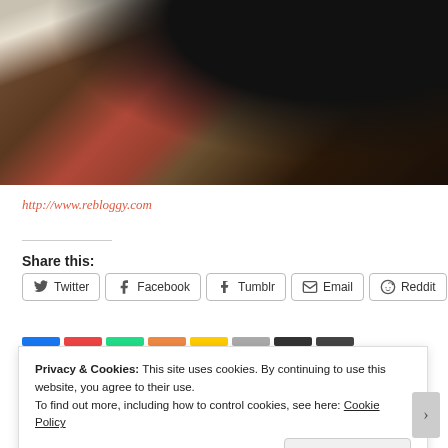[Figure (photo): Blurred photo showing a wooden box with papers, a red/pink item, and a dark coffee cup in the upper right, on a dark wooden surface.]
http://www.rebloggy.com
Share this:
Twitter  Facebook  Tumblr  Email  Reddit
Privacy & Cookies: This site uses cookies. By continuing to use this website, you agree to their use.
To find out more, including how to control cookies, see here: Cookie Policy
Close and accept